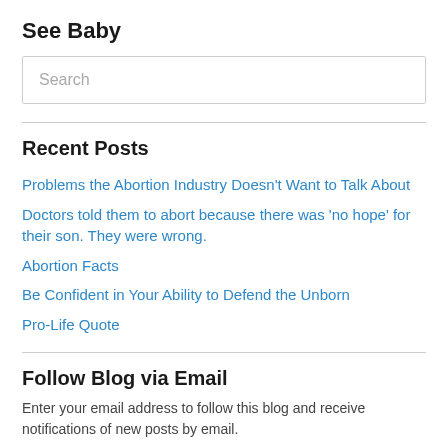See Baby
Search
Recent Posts
Problems the Abortion Industry Doesn't Want to Talk About
Doctors told them to abort because there was 'no hope' for their son. They were wrong.
Abortion Facts
Be Confident in Your Ability to Defend the Unborn
Pro-Life Quote
Follow Blog via Email
Enter your email address to follow this blog and receive notifications of new posts by email.